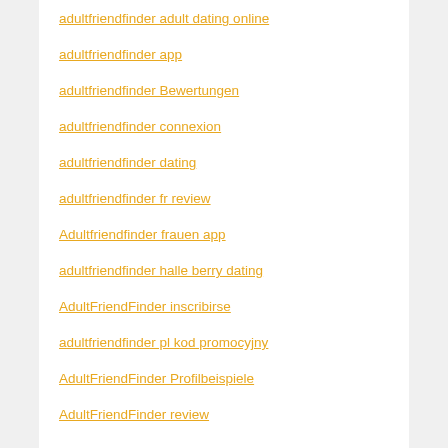adultfriendfinder adult dating online
adultfriendfinder app
adultfriendfinder Bewertungen
adultfriendfinder connexion
adultfriendfinder dating
adultfriendfinder fr review
Adultfriendfinder frauen app
adultfriendfinder halle berry dating
AdultFriendFinder inscribirse
adultfriendfinder pl kod promocyjny
AdultFriendFinder Profilbeispiele
AdultFriendFinder review